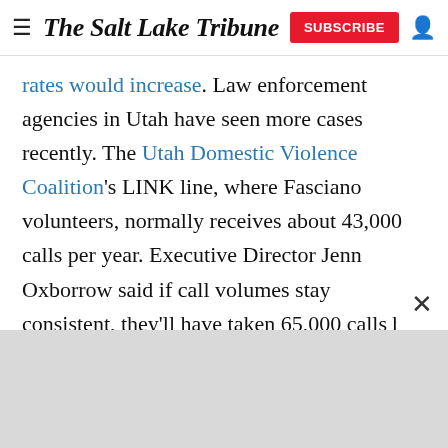The Salt Lake Tribune
rates would increase. Law enforcement agencies in Utah have seen more cases recently. The Utah Domestic Violence Coalition's LINK line, where Fasciano volunteers, normally receives about 43,000 calls per year. Executive Director Jenn Oxborrow said if call volumes stay consistent, they'll have taken 65,000 calls by year's end.